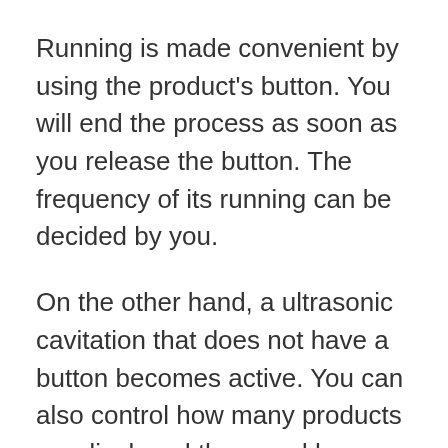Running is made convenient by using the product's button. You will end the process as soon as you release the button. The frequency of its running can be decided by you.
On the other hand, a ultrasonic cavitation that does not have a button becomes active. You can also control how many products are displayed there and how many buttons there are.
Faster and easier methods are easier to use for most users. There is no right or wrong